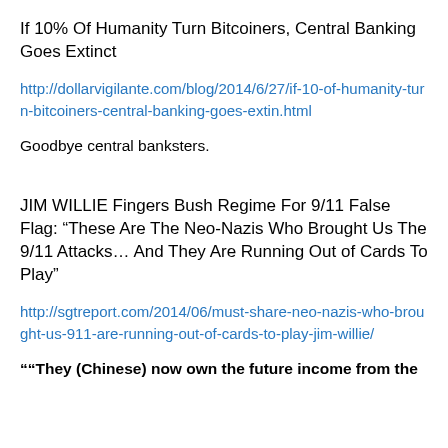If 10% Of Humanity Turn Bitcoiners, Central Banking Goes Extinct
http://dollarvigilante.com/blog/2014/6/27/if-10-of-humanity-turn-bitcoiners-central-banking-goes-extin.html
Goodbye central banksters.
JIM WILLIE Fingers Bush Regime For 9/11 False Flag: “These Are The Neo-Nazis Who Brought Us The 9/11 Attacks… And They Are Running Out of Cards To Play”
http://sgtreport.com/2014/06/must-share-neo-nazis-who-brought-us-911-are-running-out-of-cards-to-play-jim-willie/
““They (Chinese) now own the future income from the